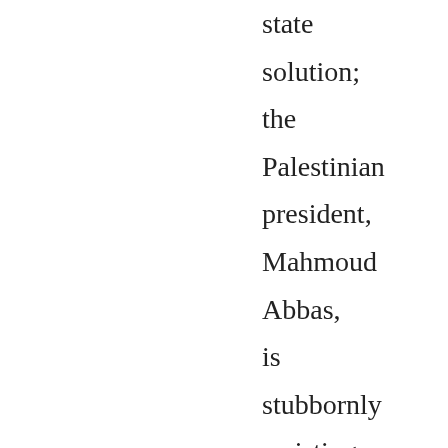state solution; the Palestinian president, Mahmoud Abbas, is stubbornly resisting. It is time for him to talk. The proximity talks - the American